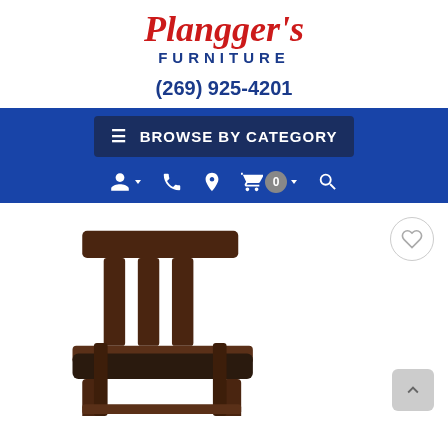[Figure (logo): Plangger's Furniture logo with red italic script and blue uppercase FURNITURE text]
(269) 925-4201
[Figure (screenshot): Blue navigation bar with BROWSE BY CATEGORY button and icon bar with user, phone, location, cart (0), and search icons]
[Figure (photo): A dark wood dining chair with slat back and dark brown upholstered seat, shown against a white background. A heart/wishlist icon is in the upper right and a back-to-top arrow button in the lower right.]